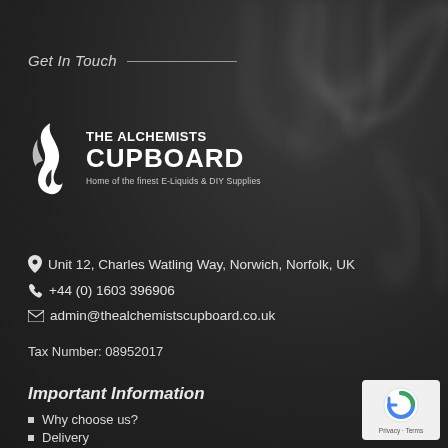Get In Touch
[Figure (logo): The Alchemists Cupboard logo — flame/swirl icon with bold text 'THE ALCHEMISTS CUPBOARD' and tagline 'Home of the finest E-Liquids & DIY Supplies']
Unit 12, Charles Watling Way, Norwich, Norfolk, UK
+44 (0) 1603 396906
admin@thealchemistscupboard.co.uk
Tax Number: 08952017
Important Information
Why choose us?
Delivery
[Figure (logo): Google reCAPTCHA badge with Privacy and Terms links]